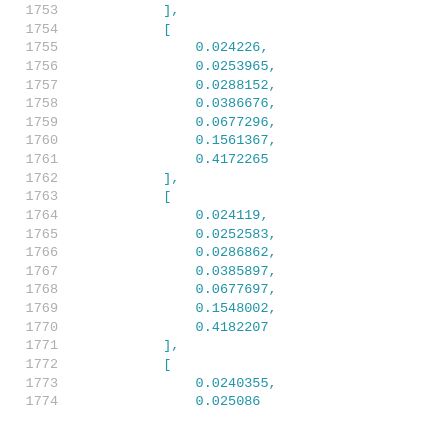Code listing lines 1753-1774 showing nested array data with floating point values
1753    ],
1754    [
1755        0.024226,
1756        0.0253965,
1757        0.0288152,
1758        0.0386676,
1759        0.0677296,
1760        0.1561367,
1761        0.4172265
1762    ],
1763    [
1764        0.024119,
1765        0.0252583,
1766        0.0286862,
1767        0.0385897,
1768        0.0677697,
1769        0.1548002,
1770        0.4182207
1771    ],
1772    [
1773        0.0240355,
1774        0.025086